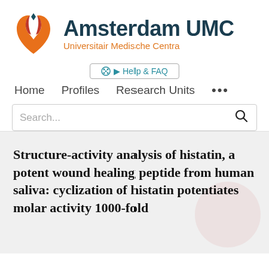[Figure (logo): Amsterdam UMC logo with tulip symbol in orange and red, text 'Amsterdam UMC' in dark teal and 'Universitair Medische Centra' in orange]
Help & FAQ
Home   Profiles   Research Units   •••
Search...
Structure-activity analysis of histatin, a potent wound healing peptide from human saliva: cyclization of histatin potentiates molar activity 1000-fold